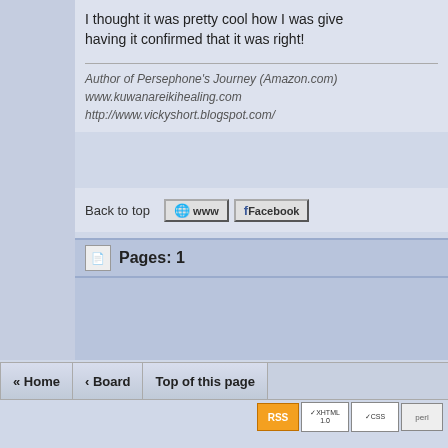I thought it was pretty cool how I was given... having it confirmed that it was right!
Author of Persephone's Journey (Amazon.com)
www.kuwanareikihealing.com
http://www.vickyshort.blogspot.com/
Back to top
Pages: 1
« Home  ‹ Board  Top of this page
This is a Peer Moderated Forum. You can report P... Fill Out and Submit Posting Guideline...
Conversation Board » Powered by YaBB © 2000-2009. All Rights Re...